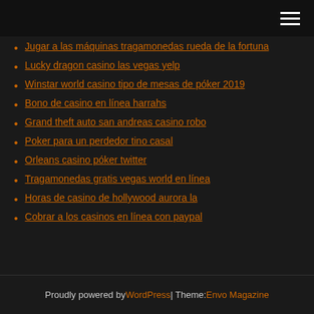Jugar a las máquinas tragamonedas rueda de la fortuna
Lucky dragon casino las vegas yelp
Winstar world casino tipo de mesas de póker 2019
Bono de casino en línea harrahs
Grand theft auto san andreas casino robo
Poker para un perdedor tino casal
Orleans casino póker twitter
Tragamonedas gratis vegas world en línea
Horas de casino de hollywood aurora la
Cobrar a los casinos en línea con paypal
Proudly powered by WordPress | Theme: Envo Magazine